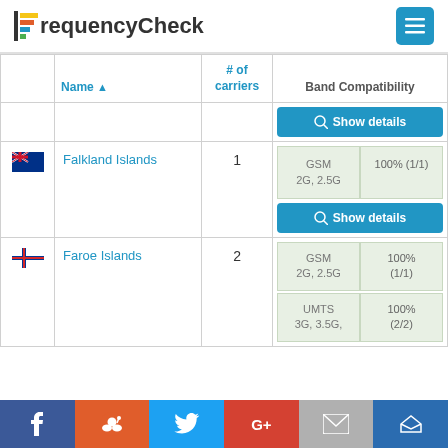FrequencyCheck
|  | Name ▲ | # of carriers | Band Compatibility |
| --- | --- | --- | --- |
|  |  |  | Show details |
| 🏴󠁦󠁫󠁿 | Falkland Islands | 1 | GSM 2G, 2.5G | 100% (1/1) | Show details |
| 🇫🇴 | Faroe Islands | 2 | GSM 2G, 2.5G | 100% (1/1) | UMTS 3G, 3.5G, | 100% (2/2) |
Facebook | Reddit | Twitter | G+ | Email | Crown